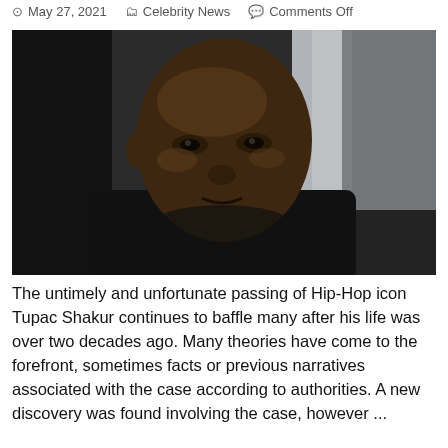May 27, 2021  Celebrity News  Comments Off
[Figure (photo): Close-up portrait of a middle-aged Black man with a serious expression, wearing a dark hoodie, photographed against a blurred light background.]
The untimely and unfortunate passing of Hip-Hop icon Tupac Shakur continues to baffle many after his life was over two decades ago. Many theories have come to the forefront, sometimes facts or previous narratives associated with the case according to authorities. A new discovery was found involving the case, however ...